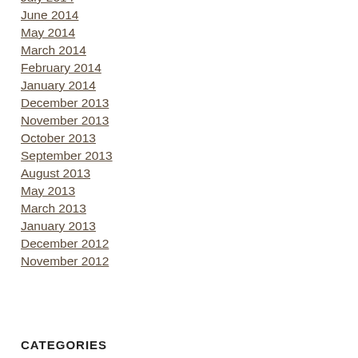July 2014
June 2014
May 2014
March 2014
February 2014
January 2014
December 2013
November 2013
October 2013
September 2013
August 2013
May 2013
March 2013
January 2013
December 2012
November 2012
CATEGORIES